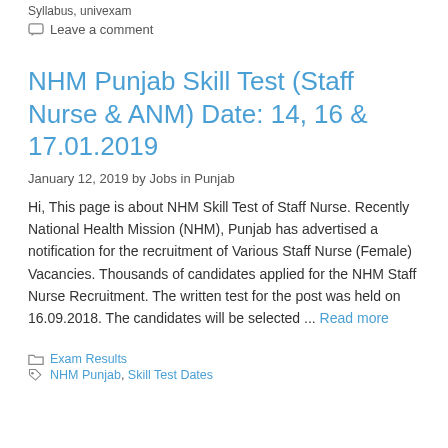Syllabus, univexam
Leave a comment
NHM Punjab Skill Test (Staff Nurse & ANM) Date: 14, 16 & 17.01.2019
January 12, 2019 by Jobs in Punjab
Hi, This page is about NHM Skill Test of Staff Nurse. Recently National Health Mission (NHM), Punjab has advertised a notification for the recruitment of Various Staff Nurse (Female) Vacancies. Thousands of candidates applied for the NHM Staff Nurse Recruitment. The written test for the post was held on 16.09.2018. The candidates will be selected ... Read more
Exam Results
NHM Punjab, Skill Test Dates